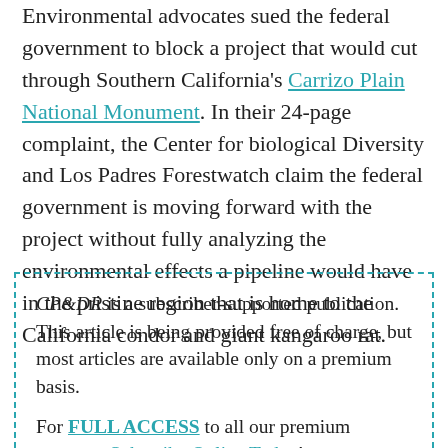Environmental advocates sued the federal government to block a project that would cut through Southern California's Carrizo Plain National Monument. In their 24-page complaint, the Center for biological Diversity and Los Padres Forestwatch claim the federal government is moving forward with the project without fully analyzing the environmental effects a pipeline would have in the pristine region that is home to the California condor and giant kangaroo rat.
CP&DR is a subscriber-supported publication. This article is being provided free of charge, but most articles are available only on a premium basis. For FULL ACCESS to all our premium content - Subscribe Online Today! (If you're not a subscriber premium articles can be